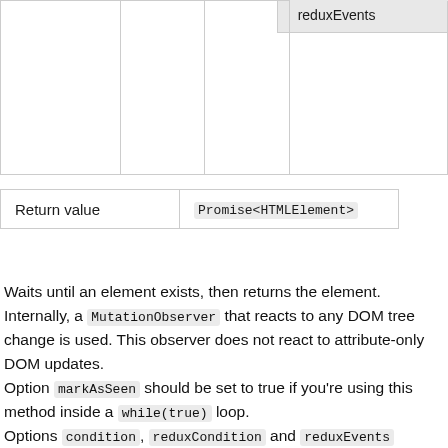|  |  |  | reduxEvents |
| Return value | Promise<HTMLElement> |
| --- | --- |
Waits until an element exists, then returns the element. Internally, a MutationObserver that reacts to any DOM tree change is used. This observer does not react to attribute-only DOM updates.
Option markAsSeen should be set to true if you're using this method inside a while(true) loop.
Options condition, reduxCondition and reduxEvents should be used as optimizations, in order to avoid multiple